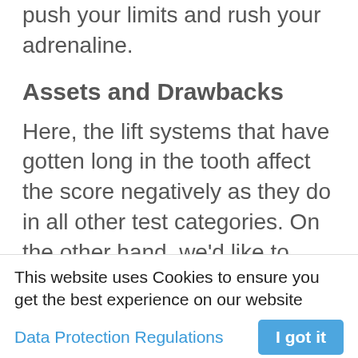push your limits and rush your adrenaline.
Assets and Drawbacks
Here, the lift systems that have gotten long in the tooth affect the score negatively as they do in all other test categories. On the other hand, we'd like to mention that the ski resort's ski cross track and race track provide additional variety
This website uses Cookies to ensure you get the best experience on our website
Data Protection Regulations
I got it